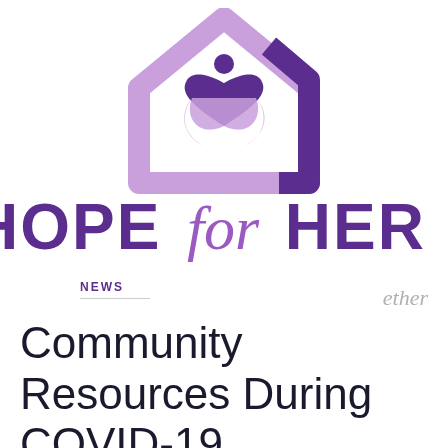[Figure (logo): Hope for Her organization logo: a purple house outline with a heart and figure inside, in shades of purple and lavender.]
HOPE for HER
NEWS
ether
Community Resources During COVID-19